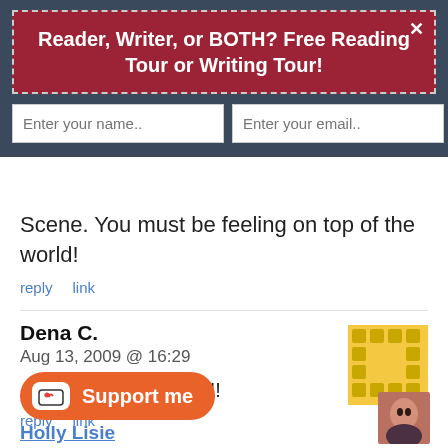Reader, Writer, or BOTH? Free Reading Tour or Writing Tour!
Enter your name..
Enter your email..
Subscribe Now
Scene. You must be feeling on top of the world!
reply   link
Dena C.
Aug 13, 2009 @ 16:29

Awesome job, Sarah!!!
reply   link
Support me
Holly Lisie